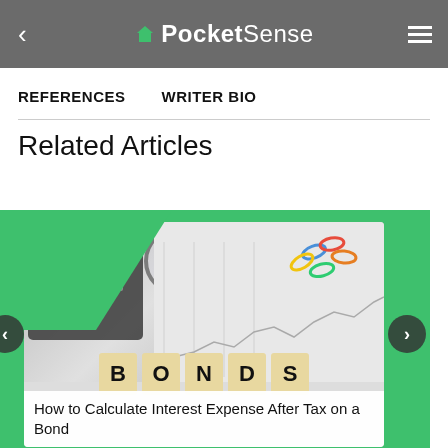PocketSense
REFERENCES   WRITER BIO
Related Articles
[Figure (photo): Photo of wooden letter blocks spelling BONDS, with a calculator, glasses, financial charts, and colorful paper clips in the background. Used as thumbnail for a related article.]
How to Calculate Interest Expense After Tax on a Bond